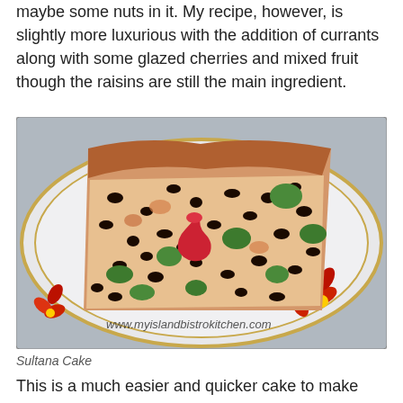maybe some nuts in it. My recipe, however, is slightly more luxurious with the addition of currants along with some glazed cherries and mixed fruit though the raisins are still the main ingredient.
[Figure (photo): A slice of sultana/fruit cake on a decorative white plate with gold rim and red floral pattern, showing dark raisins/currants and colorful glazed cherries (red and green) throughout the golden cake. A watermark reads www.myislandbistrokitchen.com]
Sultana Cake
This is a much easier and quicker cake to make than is a